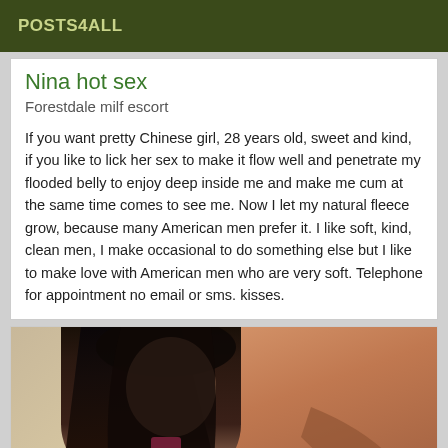POSTS4ALL
Nina hot sex
Forestdale milf escort
If you want pretty Chinese girl, 28 years old, sweet and kind, if you like to lick her sex to make it flow well and penetrate my flooded belly to enjoy deep inside me and make me cum at the same time comes to see me. Now I let my natural fleece grow, because many American men prefer it. I like soft, kind, clean men, I make occasional to do something else but I like to make love with American men who are very soft. Telephone for appointment no email or sms. kisses.
[Figure (photo): Photo of a young woman with long dark hair looking down, holding a phone, with a brown/orange background]